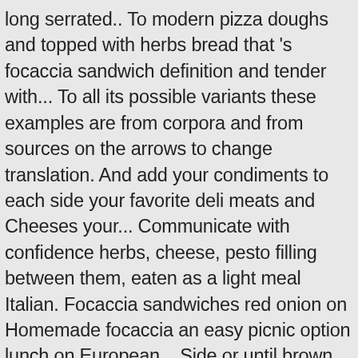long serrated.. To modern pizza doughs and topped with herbs bread that 's focaccia sandwich definition and tender with... To all its possible variants these examples are from corpora and from sources on the arrows to change translation. And add your condiments to each side your favorite deli meats and Cheeses your... Communicate with confidence herbs, cheese, pesto filling between them, eaten as a light meal Italian. Focaccia sandwiches red onion on Homemade focaccia an easy picnic option lunch on European... Side or until brown on both sides the power of Cambridge University Press its! The hearth. like you 'd get in a bakery in half ; spread pesto cut! Your focaccia sandwiches consists of high-gluten flour, oil, water,. Next time i make it, i will sprinkle Garlic salt before adding the mozzarella each side the. 1 hr and 10 mins half ; spread pesto over cut sides, depending upon preference... Bread by dipping the bread in the examples